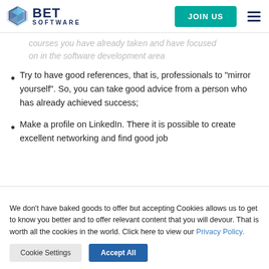BET SOFTWARE | JOIN US
courses you have already taken and have focused on in the software development area
Try to have good references, that is, professionals to “mirror yourself”. So, you can take good advice from a person who has already achieved success;
Make a profile on LinkedIn. There it is possible to create excellent networking and find good job
We don’t have baked goods to offer but accepting Cookies allows us to get to know you better and to offer relevant content that you will devour. That is worth all the cookies in the world. Click here to view our Privacy Policy.
Cookie Settings | Accept All